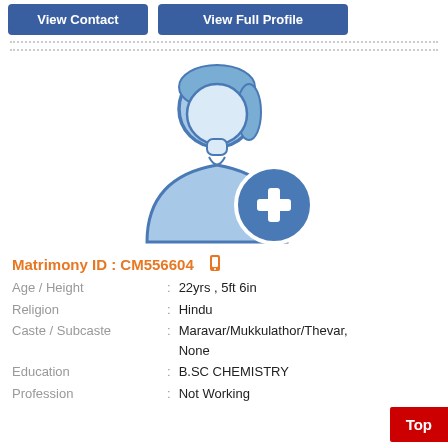[Figure (other): Two blue buttons: 'View Contact' and 'View Full Profile']
[Figure (illustration): Female user avatar placeholder icon in light blue with a blue circle plus sign overlay, indicating photo upload]
Matrimony ID : CM556604
| Age / Height | : | 22yrs , 5ft 6in |
| Religion | : | Hindu |
| Caste / Subcaste | : | Maravar/Mukkulathor/Thevar, None |
| Education | : | B.SC CHEMISTRY |
| Profession | : | Not Working |